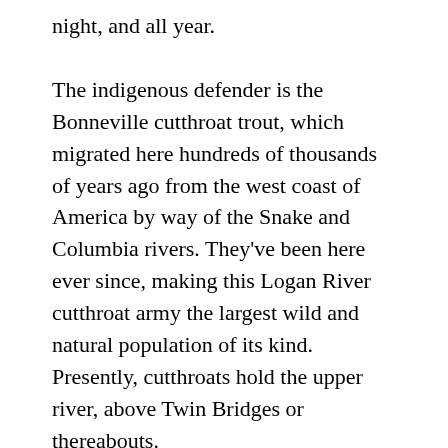night, and all year.
The indigenous defender is the Bonneville cutthroat trout, which migrated here hundreds of thousands of years ago from the west coast of America by way of the Snake and Columbia rivers. They've been here ever since, making this Logan River cutthroat army the largest wild and natural population of its kind. Presently, cutthroats hold the upper river, above Twin Bridges or thereabouts.
Invading from downstream is the brown trout, whose antecedents hail from Eurasia. The brown trout isn't an intentional trespasser; they were stocked here in the 1880s by humans who wanted more fish to catch. However, brown trout are aggressive, and they don't know or care that the Logan River used to belong to some other species. Brown trout dominate the lower river, especially in the neighborhood of Third Dam.